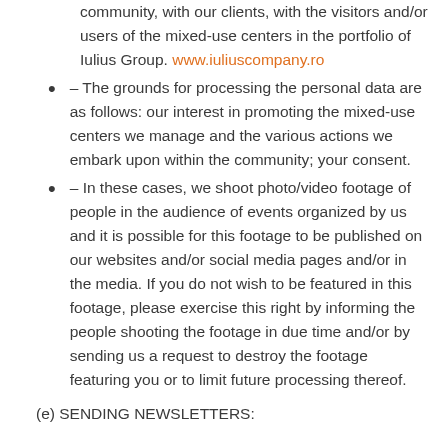community, with our clients, with the visitors and/or users of the mixed-use centers in the portfolio of Iulius Group. www.iuliuscompany.ro
– The grounds for processing the personal data are as follows: our interest in promoting the mixed-use centers we manage and the various actions we embark upon within the community; your consent.
– In these cases, we shoot photo/video footage of people in the audience of events organized by us and it is possible for this footage to be published on our websites and/or social media pages and/or in the media. If you do not wish to be featured in this footage, please exercise this right by informing the people shooting the footage in due time and/or by sending us a request to destroy the footage featuring you or to limit future processing thereof.
(e) SENDING NEWSLETTERS: